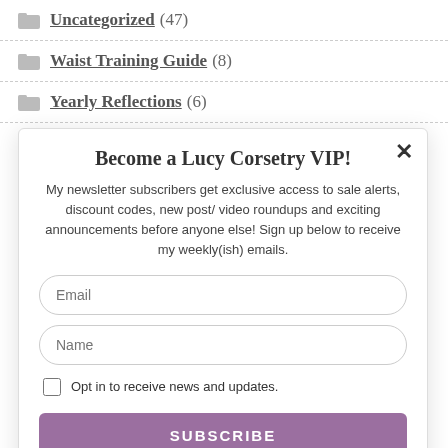Uncategorized (47)
Waist Training Guide (8)
Yearly Reflections (6)
Become a Lucy Corsetry VIP!
My newsletter subscribers get exclusive access to sale alerts, discount codes, new post/ video roundups and exciting announcements before anyone else! Sign up below to receive my weekly(ish) emails.
Email
Name
Opt in to receive news and updates.
SUBSCRIBE